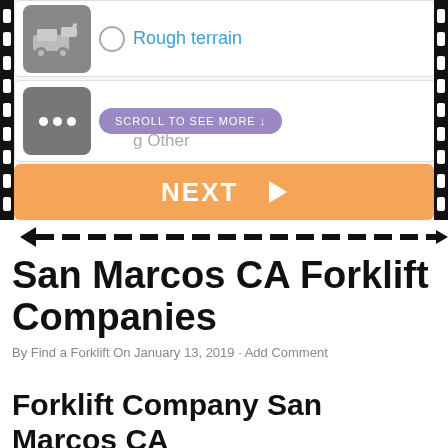[Figure (screenshot): Mobile app screenshot showing forklift type selection UI with 'Rough terrain' option, 'Other' option with scroll prompt, and orange NEXT button]
San Marcos CA Forklift Companies
By Find a Forklift On January 13, 2019 · Add Comment
Forklift Company San Marcos CA